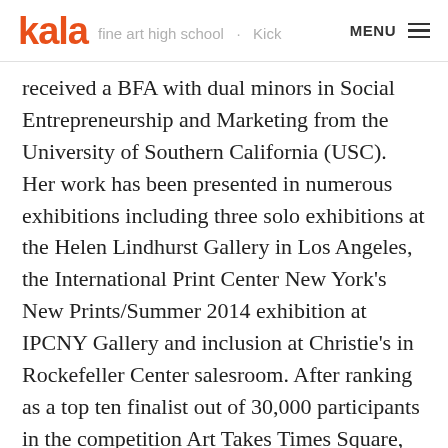kala | fine art high school · MENU
received a BFA with dual minors in Social Entrepreneurship and Marketing from the University of Southern California (USC).  Her work has been presented in numerous exhibitions including three solo exhibitions at the Helen Lindhurst Gallery in Los Angeles, the International Print Center New York's New Prints/Summer 2014 exhibition at IPCNY Gallery and inclusion at Christie's in Rockefeller Center salesroom. After ranking as a top ten finalist out of 30,000 participants in the competition Art Takes Times Square, her artwork was displayed on a LED screen in Times Square. She recently received several prestigious awards